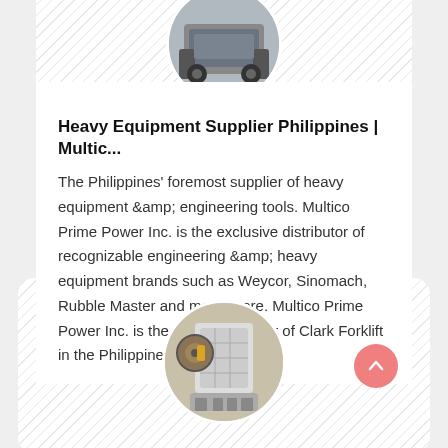[Figure (photo): Circular thumbnail image of heavy equipment machinery, shown at the top of first card]
Heavy Equipment Supplier Philippines | Multic...
The Philippines' foremost supplier of heavy equipment &amp; engineering tools. Multico Prime Power Inc. is the exclusive distributor of recognizable engineering &amp; heavy equipment brands such as Weycor, Sinomach, Rubble Master and many more. Multico Prime Power Inc. is the leading supplier of Clark Forklift in the Philippines
[Figure (photo): Circular thumbnail image of industrial crushing/jaw crusher machine, shown at the top of second card]